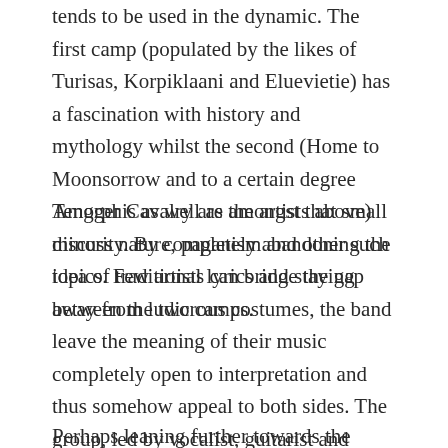tends to be used in the dynamic. The first camp (populated by the likes of Turisas, Korpiklaani and Eluevietie) has a fascination with history and mythology whilst the second (Home to Moonsorrow and to a certain degree Amorphis as well as the artists above) discuss nature, paganism and other such topics. Few artists can bridge the gap between the two camps.
Tengger Cavalry are amongst that small minority. By completely abandoning the idea of traditional lyrics and staying away from ludicrous costumes, the band leave the meaning of their music completely open to interpretation and thus somehow appeal to both sides. The group, led by vocalist, guitarist and player of everything bar the kitchen sink (Although it wouldn't be surprising if he could get a tune out of that too), Nature Ganganbaigal call themselves the first Mongolian folk metal act. With the exception of Nine Treasure they may just be the only one too.
Perhaps leaning further towards the latter camp, Tengger Cavalry